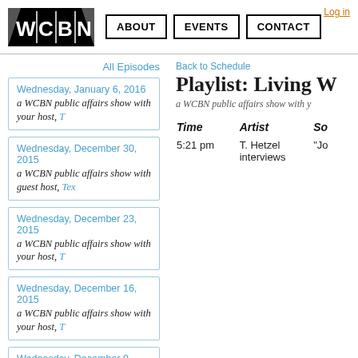WCBN | ABOUT | EVENTS | CONTACT | Log in
All Episodes
Wednesday, January 6, 2016
a WCBN public affairs show with your host, T
Wednesday, December 30, 2015
a WCBN public affairs show with guest host, Tex
Wednesday, December 23, 2015
a WCBN public affairs show with your host, T
Wednesday, December 16, 2015
a WCBN public affairs show with your host, T
Wednesday, December 9, 2015
a WCBN public affairs show with
Back to Schedule
Playlist: Living W
a WCBN public affairs show with y
| Time | Artist | So |
| --- | --- | --- |
| 5:21 pm | T. Hetzel interviews | "Jo |